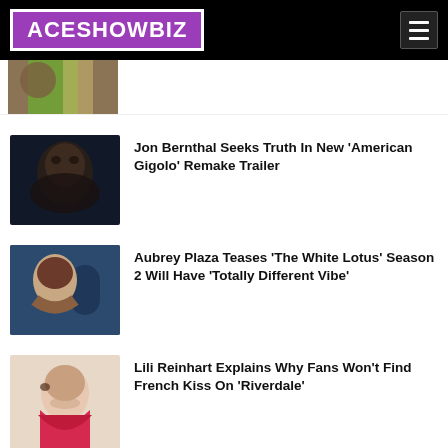ACESHOWBIZ
[Figure (photo): Partial thumbnail of a news item showing colorful fashion, cropped at top]
Jon Bernthal Seeks Truth In New 'American Gigolo' Remake Trailer
Aubrey Plaza Teases 'The White Lotus' Season 2 Will Have 'Totally Different Vibe'
Lili Reinhart Explains Why Fans Won't Find French Kiss On 'Riverdale'